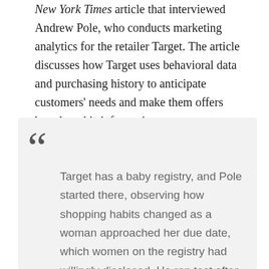New York Times article that interviewed Andrew Pole, who conducts marketing analytics for the retailer Target. The article discusses how Target uses behavioral data and purchasing history to anticipate customers' needs and make them offers based on this information:
Target has a baby registry, and Pole started there, observing how shopping habits changed as a woman approached her due date, which women on the registry had willingly disclosed. He ran test after test, analyzing the data, and before long some useful patterns